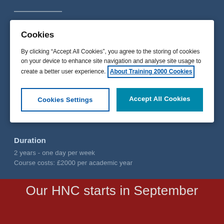[Figure (screenshot): Blue background with a horizontal line at the top]
Cookies

By clicking “Accept All Cookies”, you agree to the storing of cookies on your device to enhance site navigation and analyse site usage to create a better user experience. About Training 2000 Cookies

[Cookies Settings] [Accept All Cookies]
Duration
2 years - one day per week
Course costs: £2000 per academic year
Our HNC starts in September